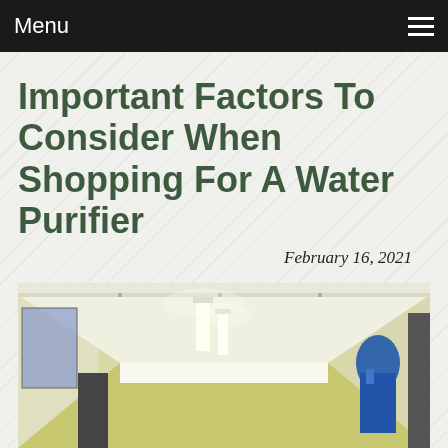Menu
Important Factors To Consider When Shopping For A Water Purifier
February 16, 2021
[Figure (photo): Interior hallway/room with white paneled ceiling, fluorescent lighting, and equipment visible on the right side including a blue water purifier unit. The room appears to be an industrial or commercial space.]